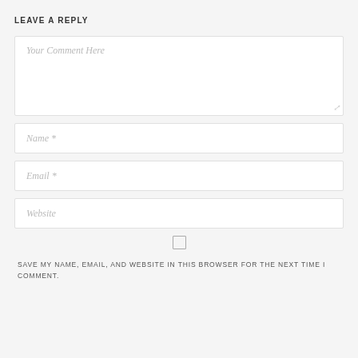LEAVE A REPLY
[Figure (screenshot): Comment form textarea with placeholder text 'Your Comment Here' and a resize handle in the bottom-right corner]
[Figure (screenshot): Name input field with placeholder text 'Name *']
[Figure (screenshot): Email input field with placeholder text 'Email *']
[Figure (screenshot): Website input field with placeholder text 'Website']
[Figure (screenshot): Checkbox (unchecked) for saving name, email, and website in the browser for the next comment]
SAVE MY NAME, EMAIL, AND WEBSITE IN THIS BROWSER FOR THE NEXT TIME I COMMENT.